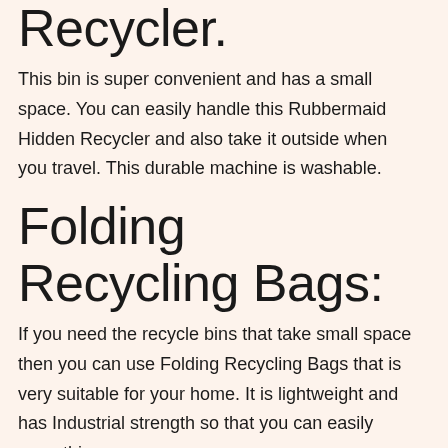Recycler.
This bin is super convenient and has a small space. You can easily handle this Rubbermaid Hidden Recycler and also take it outside when you travel. This durable machine is washable.
Folding Recycling Bags:
If you need the recycle bins that take small space then you can use Folding Recycling Bags that is very suitable for your home. It is lightweight and has Industrial strength so that you can easily carry this.
Some Recycling Tips for Children: